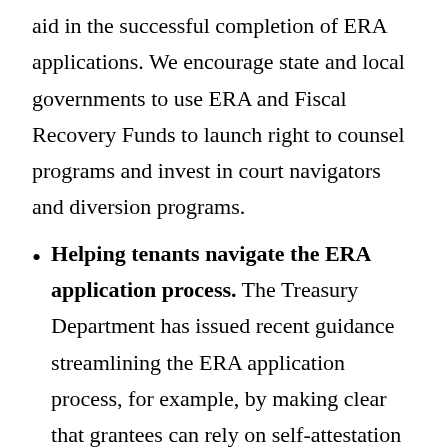aid in the successful completion of ERA applications. We encourage state and local governments to use ERA and Fiscal Recovery Funds to launch right to counsel programs and invest in court navigators and diversion programs.
Helping tenants navigate the ERA application process. The Treasury Department has issued recent guidance streamlining the ERA application process, for example, by making clear that grantees can rely on self-attestation from tenants for